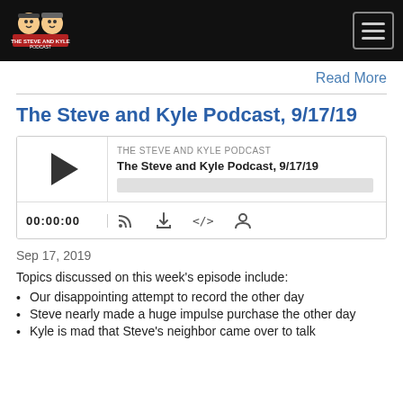[Figure (logo): The Steve and Kyle Podcast logo with cartoon avatars of two men]
Read More
The Steve and Kyle Podcast, 9/17/19
[Figure (screenshot): Podcast audio player widget showing THE STEVE AND KYLE PODCAST, The Steve and Kyle Podcast, 9/17/19, with play button, progress bar, time 00:00:00, and icons for RSS, download, embed, and share]
Sep 17, 2019
Topics discussed on this week's episode include:
Our disappointing attempt to record the other day
Steve nearly made a huge impulse purchase the other day
Kyle is mad that Steve's neighbor came over to talk